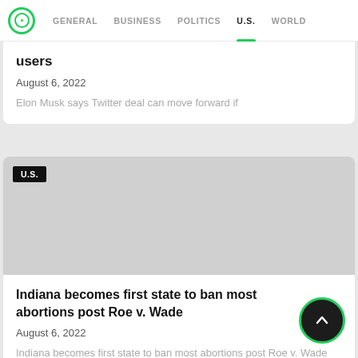GENERAL  BUSINESS  POLITICS  U.S.  WORLD
users
August 6, 2022
Elon Musk says Twitter deal can move forward if
[Figure (photo): Gray placeholder image with U.S. category badge in top-left corner]
Indiana becomes first state to ban most abortions post Roe v. Wade
August 6, 2022
Indiana becomes first state to ban most abortions post Roe v. Wade